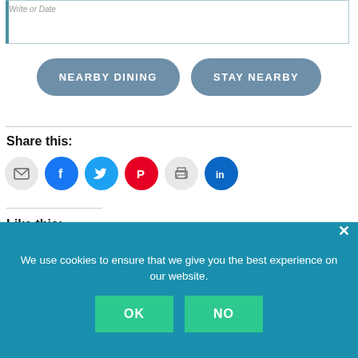Write or Date
NEARBY DINING
STAY NEARBY
Share this:
[Figure (infographic): Row of six social share icon circles: email (grey), Facebook (blue), Twitter (cyan), Pinterest (red), print (grey), LinkedIn (dark blue)]
Like this:
Loading...
We use cookies to ensure that we give you the best experience on our website.
OK
NO